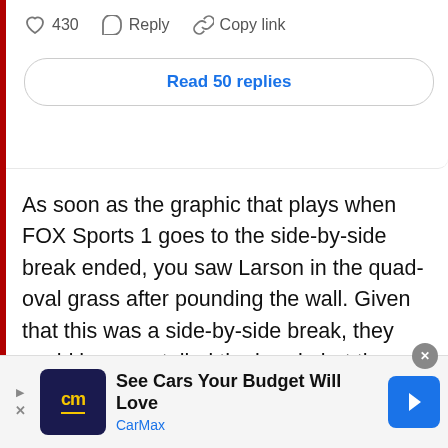[Figure (screenshot): Social media interaction bar with heart icon showing 430 likes, Reply button, and Copy link button, followed by a 'Read 50 replies' button in a rounded rectangle]
As soon as the graphic that plays when FOX Sports 1 goes to the side-by-side break ended, you saw Larson in the quad-oval grass after pounding the wall. Given that this was a side-by-side break, they could have curtailed the break, but they chose not to. Had it been a local break, that would be another story.
The Busch crash occurred right after Larson
[Figure (screenshot): CarMax advertisement banner at bottom of page. Shows CarMax logo (cm in yellow on dark blue background), text 'See Cars Your Budget Will Love' with CarMax brand name in blue, and a blue arrow navigation button on the right.]